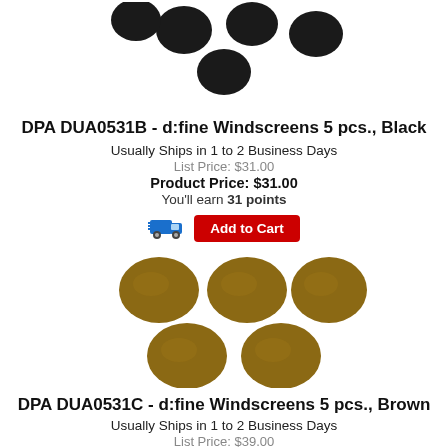[Figure (photo): 5 black oval foam windscreens scattered on white background (partial view, top of page)]
DPA DUA0531B - d:fine Windscreens 5 pcs., Black
Usually Ships in 1 to 2 Business Days
List Price: $31.00
Product Price: $31.00
You'll earn 31 points
[Figure (illustration): Blue truck shipping icon with motion lines]
Add to Cart
[Figure (photo): 5 brown/tan oval foam windscreens arranged on white background — 3 on top row, 2 on bottom row]
DPA DUA0531C - d:fine Windscreens 5 pcs., Brown
Usually Ships in 1 to 2 Business Days
List Price: $39.00